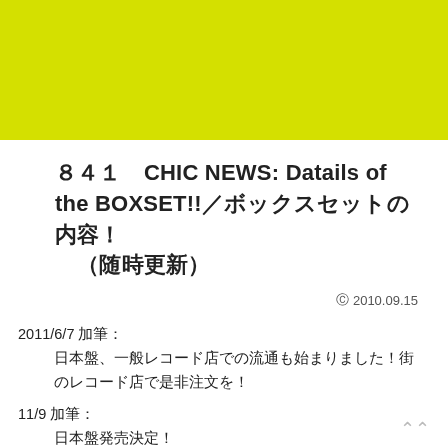[Figure (illustration): Yellow-green banner strip across the top of the page]
８４１　CHIC NEWS: Datails of the BOXSET!!／ボックスセットの内容！（随時更新）
© 2010.09.15
2011/6/7 加筆：
日本盤、一般レコード店での流通も始まりました！街のレコード店で是非注文を！
11/9 加筆：
日本盤発売決定！
日本盤として追加されるブックレットの全て＝ナイル